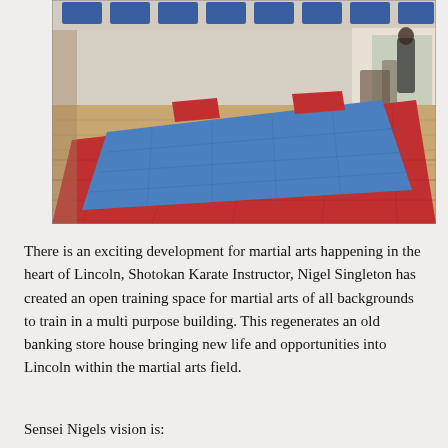[Figure (photo): Interior of a martial arts dojo with blue and red interlocking foam mats covering the floor. The room has white walls with blue padding panels mounted at the top, and wooden flooring visible around the mat edges. A person is partially visible in the background near a doorway.]
There is an exciting development for martial arts happening in the heart of Lincoln, Shotokan Karate Instructor, Nigel Singleton has created an open training space for martial arts of all backgrounds to train in a multi purpose building. This regenerates an old banking store house bringing new life and opportunities into Lincoln within the martial arts field.
Sensei Nigels vision is: